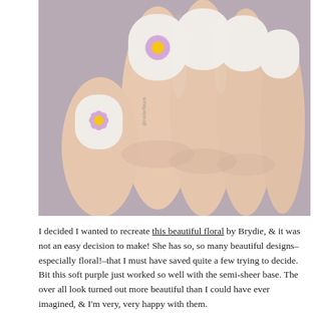[Figure (photo): Close-up photograph of a hand with nails painted in a sheer/nude base, featuring soft purple floral nail art with yellow centers on at least two visible nails (the index finger and pinky). The background is a muted gray-purple.]
I decided I wanted to recreate this beautiful floral by Brydie, & it was not an easy decision to make! She has so, so many beautiful designs–especially floral!–that I must have saved quite a few trying to decide. Bit this soft purple just worked so well with the semi-sheer base. The over all look turned out more beautiful than I could have ever imagined, & I'm very, very happy with them.
[Figure (photo): Partial view of fingers/nails with similar floral nail art, cropped at the bottom of the page.]